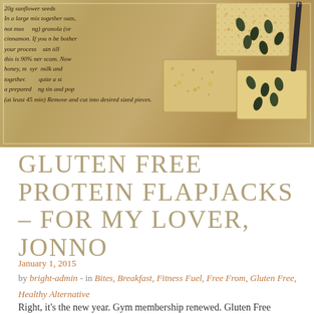[Figure (photo): Photo of gluten free protein flapjacks on a background showing handwritten recipe notes. The flapjacks are oat-based bars topped with seeds including pumpkin seeds and sunflower seeds.]
GLUTEN FREE PROTEIN FLAPJACKS – FOR MY LOVER, JONNO
January 1, 2015
by bright-admin - in Bites, Breakfast, Fitness Fuel, Free From, Gluten Free, Healthy Alternative
Right, it's the new year. Gym membership renewed. Gluten Free